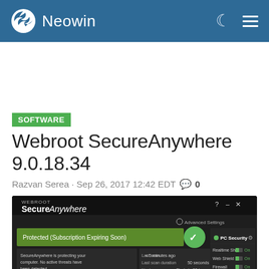Neowin
SOFTWARE
Webroot SecureAnywhere 9.0.18.34
Razvan Serea · Sep 26, 2017 12:42 EDT  0
[Figure (screenshot): Webroot SecureAnywhere application window showing 'Protected (Subscription Expiring Soon)' status with a green checkmark, scan statistics (Last scan: < 5 minutes ago, Last scan duration: 50 seconds, Next scan: Starts in 22 hours, Total scans: 13), and right panel showing PC Security with Realtime Shield, Web Shield, and Firewall all set to On.]